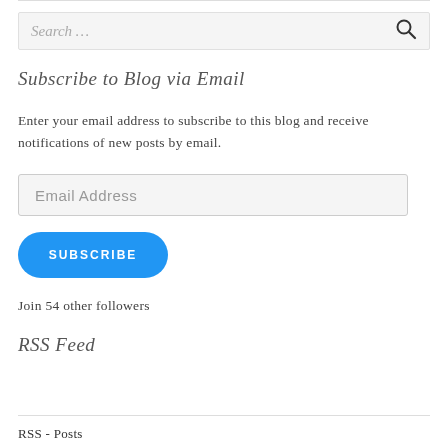Search …
Subscribe to Blog via Email
Enter your email address to subscribe to this blog and receive notifications of new posts by email.
Email Address
SUBSCRIBE
Join 54 other followers
RSS Feed
RSS - Posts